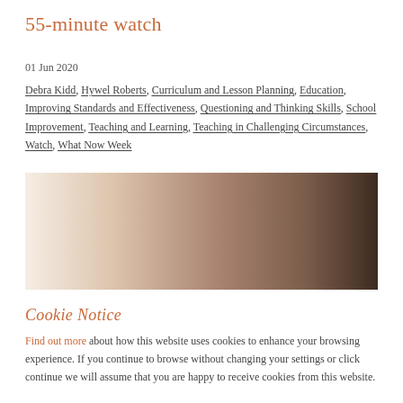55-minute watch
01 Jun 2020
Debra Kidd, Hywel Roberts, Curriculum and Lesson Planning, Education, Improving Standards and Effectiveness, Questioning and Thinking Skills, School Improvement, Teaching and Learning, Teaching in Challenging Circumstances, Watch, What Now Week
[Figure (illustration): A horizontal gradient image transitioning from light cream/beige on the left to dark brown on the right, representing a video thumbnail placeholder.]
Cookie Notice
Find out more about how this website uses cookies to enhance your browsing experience. If you continue to browse without changing your settings or click continue we will assume that you are happy to receive cookies from this website.